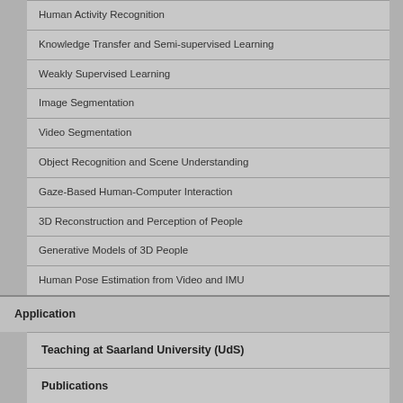Human Activity Recognition
Knowledge Transfer and Semi-supervised Learning
Weakly Supervised Learning
Image Segmentation
Video Segmentation
Object Recognition and Scene Understanding
Gaze-Based Human-Computer Interaction
3D Reconstruction and Perception of People
Generative Models of 3D People
Human Pose Estimation from Video and IMU
Application
Teaching at Saarland University (UdS)
Publications
Software and Datasets
D2 Wiki
Internet Architecture
Computer Graphics